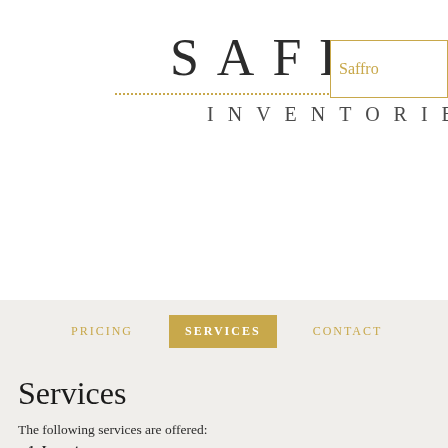[Figure (logo): Saffron Inventories logo with large serif SAFFRON text, dotted golden line separator, and INVENTORIES spaced below]
Saffro
PRICING   SERVICES   CONTACT
Services
The following services are offered:
1. Inventory
A detailed report on the condition and finishings within the property is carried out in each room.  The inventory is carried out through  a methodical inspection of the condition and listing any contents.  The inspection  will also include checking